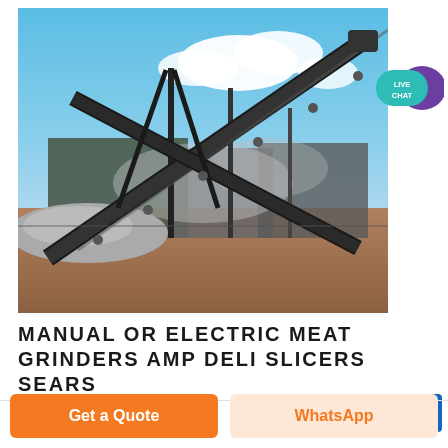[Figure (photo): Industrial conveyor belt system at a quarry or mining/crushing facility. Two large diagonal conveyor belts cross in an X pattern over a building. Blue sky with clouds. Crushed aggregate/gravel pile visible at lower left. Dusty ground.]
MANUAL OR ELECTRIC MEAT GRINDERS AMP DELI SLICERS SEARS
Get a Quote
WhatsApp